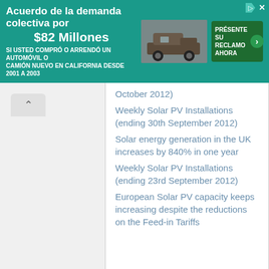[Figure (other): Advertisement banner for a class action lawsuit settlement of $82 million for California auto/truck buyers 2001-2003, in Spanish. Teal/green background with truck image and call-to-action button.]
October 2012)
Weekly Solar PV Installations (ending 30th September 2012)
Solar energy generation in the UK increases by 840% in one year
Weekly Solar PV Installations (ending 23rd September 2012)
European Solar PV capacity keeps increasing despite the reductions on the Feed-in Tariffs